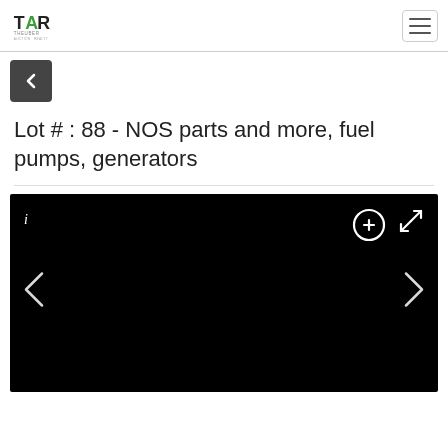TAR THEUBER [logo] | hamburger menu
[Figure (screenshot): TAR Theuber company logo in top-left of navigation header, with a hamburger menu icon on the right]
[Figure (screenshot): Back navigation button (left arrow) on dark gray background]
Lot # : 88 - NOS parts and more, fuel pumps, generators
[Figure (photo): Black image viewer panel showing a dark/black image with navigation controls: info icon (i) top-left, zoom-in icon and expand icon top-right, left chevron and right chevron navigation arrows on sides]